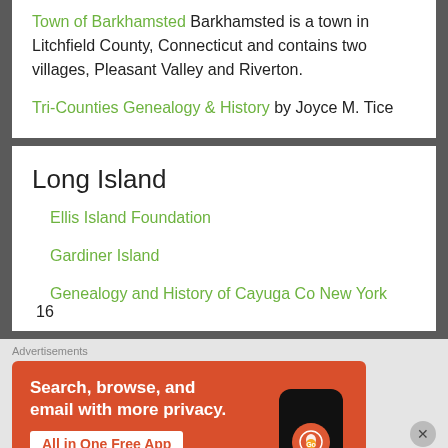Town of Barkhamsted Barkhamsted is a town in Litchfield County, Connecticut and contains two villages, Pleasant Valley and Riverton.
Tri-Counties Genealogy & History by Joyce M. Tice
Long Island
Ellis Island Foundation
Gardiner Island
Genealogy and History of Cayuga Co New York 16
[Figure (screenshot): DuckDuckGo advertisement banner: orange background with text 'Search, browse, and email with more privacy. All in One Free App' and a DuckDuckGo logo on a phone mockup.]